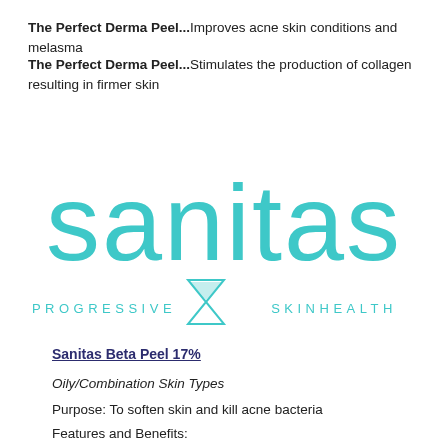The Perfect Derma Peel...Improves acne skin conditions and melasma
The Perfect Derma Peel...Stimulates the production of collagen resulting in firmer skin
[Figure (logo): Sanitas Progressive Skinhealth logo in teal/turquoise color]
Sanitas Beta Peel 17%
Oily/Combination Skin Types
Purpose: To soften skin and kill acne bacteria
Features and Benefits: